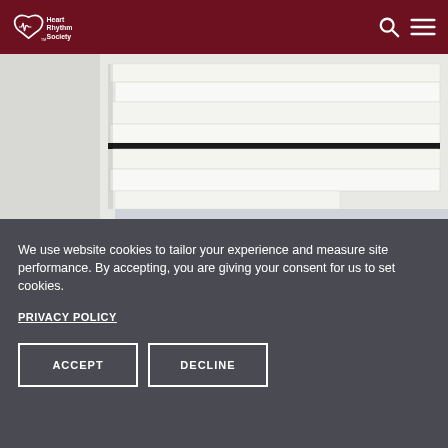Heart Rhythm Society
[Figure (photo): Stack of white books/binders photographed from above against a light background]
We use website cookies to tailor your experience and measure site performance. By accepting, you are giving your consent for us to set cookies.
PRIVACY POLICY
ACCEPT
DECLINE